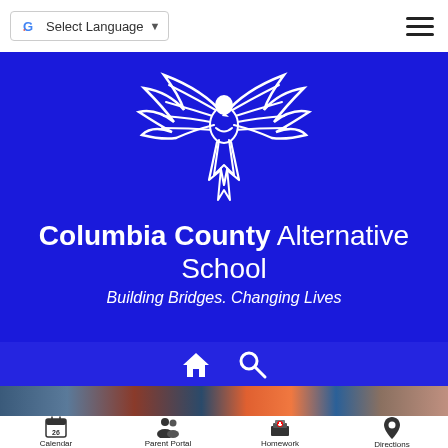[Figure (screenshot): Google Translate widget with 'Select Language' text and dropdown arrow]
[Figure (screenshot): Hamburger menu icon (three horizontal lines)]
[Figure (logo): Columbia County Alternative School phoenix/eagle logo in white on blue background]
Columbia County Alternative School
Building Bridges. Changing Lives
[Figure (screenshot): Navigation bar with home icon and search icon]
[Figure (photo): Partial classroom photo strip showing colorful decorations and posters]
[Figure (infographic): Bottom navigation bar with Calendar (26), Parent Portal, Homework, and Directions icons]